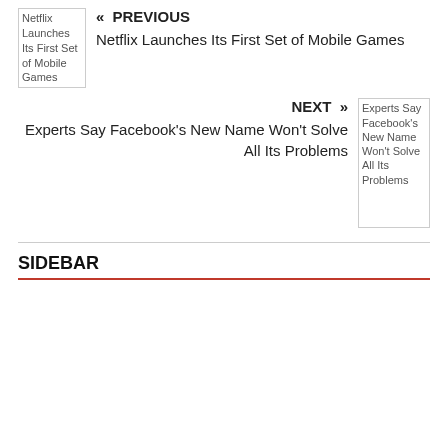[Figure (other): Broken image placeholder for Netflix Launches Its First Set of Mobile Games]
« PREVIOUS
Netflix Launches Its First Set of Mobile Games
NEXT »
Experts Say Facebook's New Name Won't Solve All Its Problems
[Figure (other): Broken image placeholder for Experts Say Facebook's New Name Won't Solve All Its Problems]
SIDEBAR